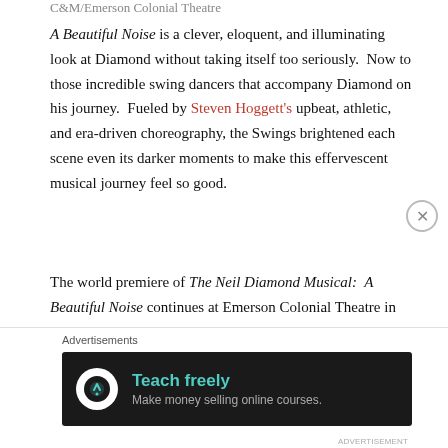C&M/Emerson Colonial Theatre
A Beautiful Noise is a clever, eloquent, and illuminating look at Diamond without taking itself too seriously.  Now to those incredible swing dancers that accompany Diamond on his journey.  Fueled by Steven Hoggett's upbeat, athletic, and era-driven choreography, the Swings brightened each scene even its darker moments to make this effervescent musical journey feel so good.
The world premiere of The Neil Diamond Musical: A Beautiful Noise continues at Emerson Colonial Theatre in Boston, MA live and in person through August 7.  Click here for more information and tickets.
Advertisements
[Figure (infographic): Dark advertisement banner with Teach Freely logo and text: 'Teach freely / Make money selling online courses.']